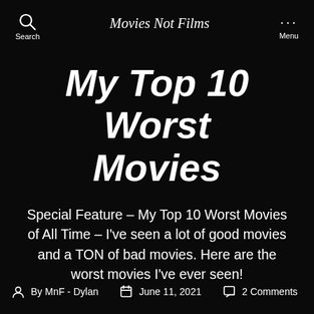Movies Not Films
My Top 10 Worst Movies
Special Feature – My Top 10 Worst Movies of All Time – I've seen a lot of good movies and a TON of bad movies. Here are the worst movies I've ever seen!
By MnF - Dylan   June 11, 2021   2 Comments